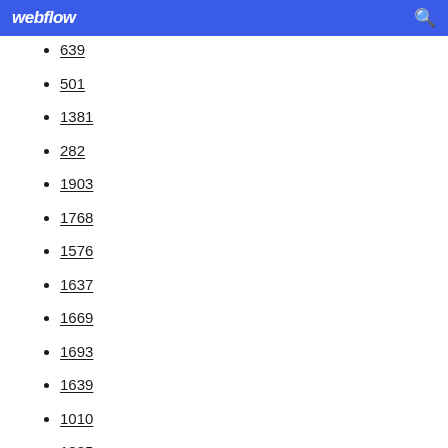webflow
639
501
1381
282
1903
1768
1576
1637
1669
1693
1639
1010
1385